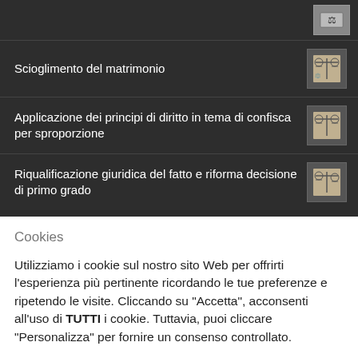Scioglimento del matrimonio
Applicazione dei principi di diritto in tema di confisca per sproporzione
Riqualificazione giuridica del fatto e riforma decisione di primo grado
Cookies
Utilizziamo i cookie sul nostro sito Web per offrirti l'esperienza più pertinente ricordando le tue preferenze e ripetendo le visite. Cliccando su "Accetta", acconsenti all'uso di TUTTI i cookie. Tuttavia, puoi cliccare "Personalizza" per fornire un consenso controllato.
Personalizza | Accetta Tutti | Rifiuta | Cookies Policy